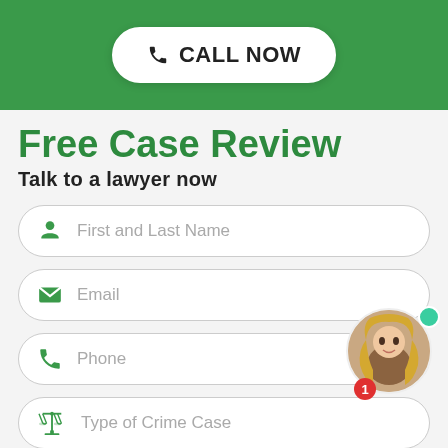[Figure (infographic): Green header bar with a white rounded 'CALL NOW' button featuring a phone icon]
Free Case Review
Talk to a lawyer now
First and Last Name
Email
Phone
Type of Crime Case